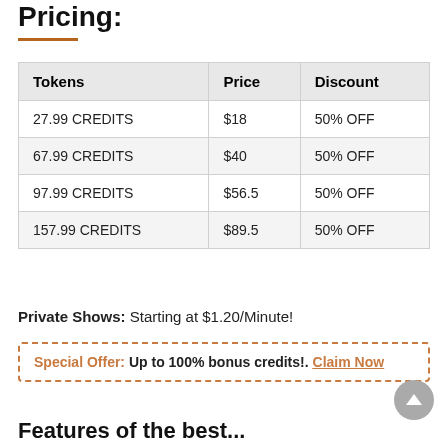Pricing:
| Tokens | Price | Discount |
| --- | --- | --- |
| 27.99 CREDITS | $18 | 50% OFF |
| 67.99 CREDITS | $40 | 50% OFF |
| 97.99 CREDITS | $56.5 | 50% OFF |
| 157.99 CREDITS | $89.5 | 50% OFF |
Private Shows: Starting at $1.20/Minute!
Special Offer: Up to 100% bonus credits!. Claim Now